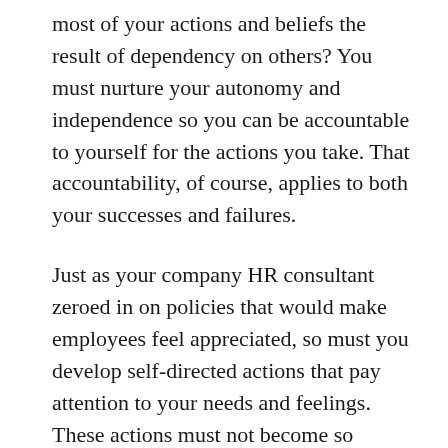most of your actions and beliefs the result of dependency on others? You must nurture your autonomy and independence so you can be accountable to yourself for the actions you take. That accountability, of course, applies to both your successes and failures.
Just as your company HR consultant zeroed in on policies that would make employees feel appreciated, so must you develop self-directed actions that pay attention to your needs and feelings. These actions must not become so extreme that you drift into narcissism, but should be focused on insuring you do not neglect yourself because you feel you are unworthy. Empowerment, confidence, and